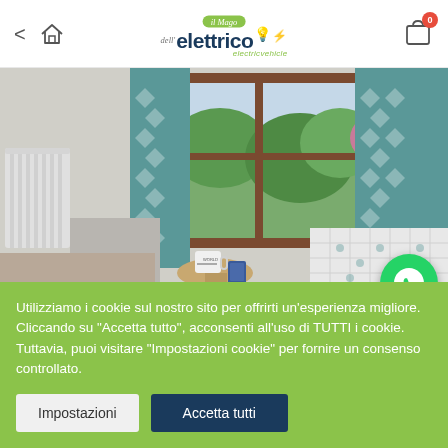il Mago dell'elettrico electricvehicle — navigation header with back arrow, home icon, logo, and cart icon (badge: 0)
[Figure (photo): Interior bedroom photo showing a room with teal/green patterned curtains, wooden window frame with garden visible outside, white radiator on left wall, small round side table with mug and phone, white quilted bed on right, grey walls — warm lifestyle interior photography]
[Figure (logo): WhatsApp circular green button with phone handset icon, positioned bottom-right of the photo]
Utilizziamo i cookie sul nostro sito per offrirti un'esperienza migliore. Cliccando su "Accetta tutto", acconsenti all'uso di TUTTI i cookie. Tuttavia, puoi visitare "Impostazioni cookie" per fornire un consenso controllato.
Impostazioni
Accetta tutti